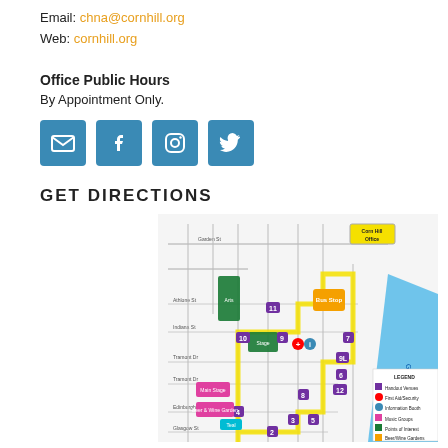Email: chna@cornhill.org
Web: cornhill.org
Office Public Hours
By Appointment Only.
[Figure (other): Social media icon buttons: email, Facebook, Instagram, Twitter]
GET DIRECTIONS
[Figure (map): Street map of Corn Hill neighborhood showing numbered event locations, streets including Garden St, Tramont Dr, Edinburgh St, Glasgow St, and Genesee River. Corn Hill Office labeled at top right. Color-coded legend for Handout Venues, First Aid/Security, Information Booth, Music Groups, Points of Interest, Beer/Wine Gardens, Food Court.]